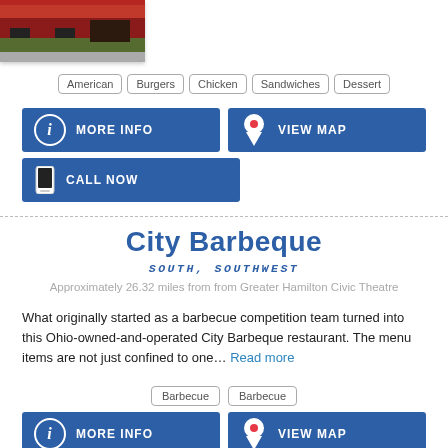[Figure (photo): Exterior photo of a restaurant building with red awning and green trees]
American
Burgers
Chicken
Sandwiches
Dessert
MORE INFO
VIEW MAP
CALL NOW
City Barbeque
SOUTH, SOUTHWEST
Approximately 26.32 miles from from Greater Hamilton Civic Theatre
What originally started as a barbecue competition team turned into this Ohio-owned-and-operated City Barbeque restaurant. The menu items are not just confined to one... Read more
Barbecue
Barbecue
MORE INFO
VIEW MAP